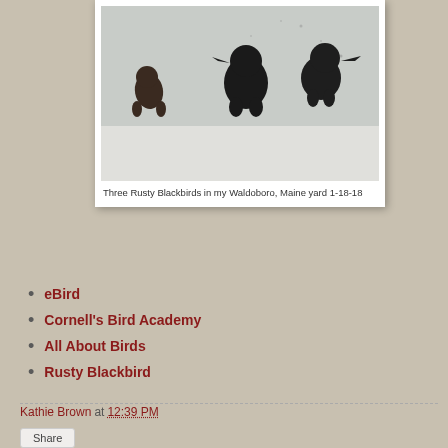[Figure (photo): Three dark birds (Rusty Blackbirds) standing in snow in a yard]
Three Rusty Blackbirds in my Waldoboro, Maine yard 1-18-18
eBird
Cornell's Bird Academy
All About Birds
Rusty Blackbird
Kathie Brown at 12:39 PM
Share